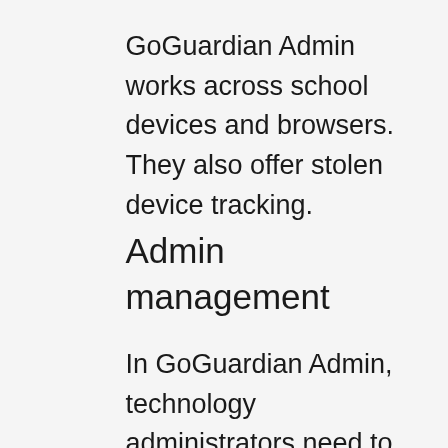GoGuardian Admin works across school devices and browsers. They also offer stolen device tracking.
Admin management
In GoGuardian Admin, technology administrators need to